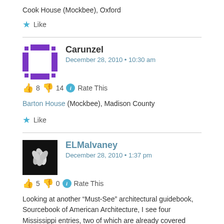Cook House (Mockbee), Oxford
★ Like
Carunzel
December 28, 2010 • 10:30 am
👍 8  👎 14  ℹ Rate This
Barton House (Mockbee), Madison County
★ Like
ELMalvaney
December 28, 2010 • 1:37 pm
👍 5  👎 0  ℹ Rate This
Looking at another "Must-See" architectural guidebook, Sourcebook of American Architecture, I see four Mississippi entries, two of which are already covered here: Beauvoir, Longwood, D'Evereux, and the Tougaloo College Dormitories and Library by Gunnar Birkerts & Associates